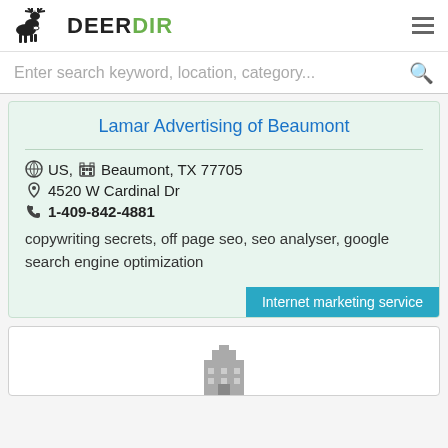DeerDir
Enter search keyword, location, category...
Lamar Advertising of Beaumont
US, Beaumont, TX 77705
4520 W Cardinal Dr
1-409-842-4881
copywriting secrets, off page seo, seo analyser, google search engine optimization
Internet marketing service